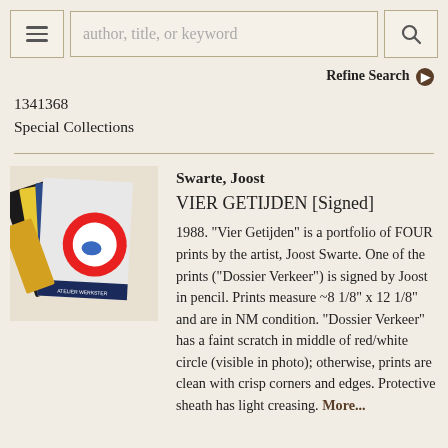author, title, or keyword [search bar] | Refine Search
1341368
Special Collections
Swarte, Joost
VIER GETIJDEN [Signed]
1988. "Vier Getijden" is a portfolio of FOUR prints by the artist, Joost Swarte. One of the prints ("Dossier Verkeer") is signed by Joost in pencil. Prints measure ~8 1/8" x 12 1/8" and are in NM condition. "Dossier Verkeer" has a faint scratch in middle of red/white circle (visible in photo); otherwise, prints are clean with crisp corners and edges. Protective sheath has light creasing. More...